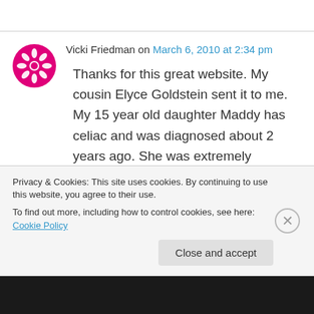Vicki Friedman on March 6, 2010 at 2:34 pm
Thanks for this great website. My cousin Elyce Goldstein sent it to me. My 15 year old daughter Maddy has celiac and was diagnosed about 2 years ago. She was extremely malnourished, anemic and her thyroid tests were off the chart. Since going gluten free she has grown 6 inches
Privacy & Cookies: This site uses cookies. By continuing to use this website, you agree to their use.
To find out more, including how to control cookies, see here: Cookie Policy